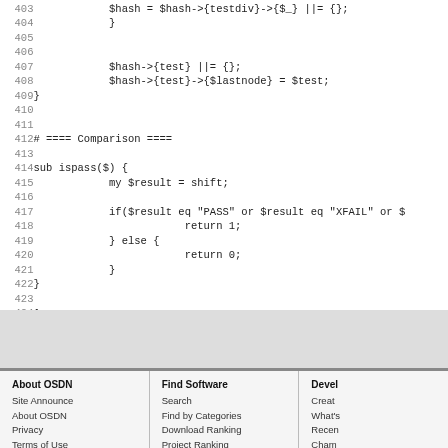403    $hash = $hash->{testdiv}->{$_} ||= {};
404            }
405
406
407            $hash->{test} ||= {};
408            $hash->{test}->{$lastnode} = $test;
409 }
410
411
412 # ==== Comparison ====
413
414 sub ispass($) {
415            my $result = shift;
416
417            if($result eq "PASS" or $result eq "XFAIL" or $
418                        return 1;
419            } else {
420                        return 0;
421            }
422 }
423
424 1;
About OSDN | Find Software | Devel
Site Announce
About OSDN
Privacy
Terms of Use
Search
Find by Categories
Download Ranking
Project Ranking
Creat
What's
Recen
Cham